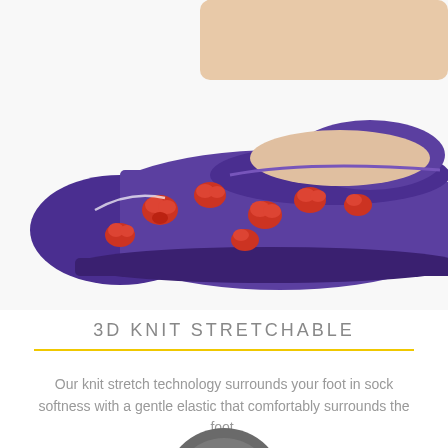[Figure (photo): A purple ballet flat shoe with red floral pattern, shown from the side with a foot inside it, against a white background.]
3D KNIT STRETCHABLE
Our knit stretch technology surrounds your foot in sock softness with a gentle elastic that comfortably surrounds the foot.
[Figure (photo): Partial view of a dark circular object at the bottom of the page, partially cropped.]